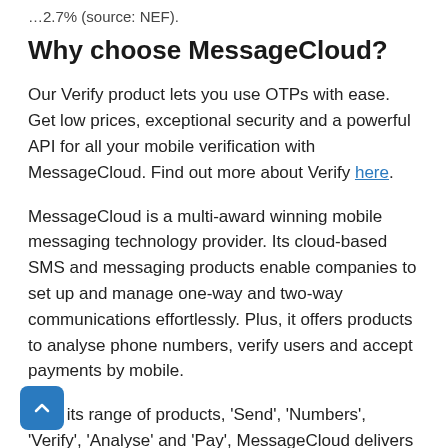…2.7% (source: NEF).
Why choose MessageCloud?
Our Verify product lets you use OTPs with ease. Get low prices, exceptional security and a powerful API for all your mobile verification with MessageCloud. Find out more about Verify here.
MessageCloud is a multi-award winning mobile messaging technology provider. Its cloud-based SMS and messaging products enable companies to set up and manage one-way and two-way communications effortlessly. Plus, it offers products to analyse phone numbers, verify users and accept payments by mobile.
With its range of products, ‘Send’, ‘Numbers’, ‘Verify’, ‘Analyse’ and ‘Pay’, MessageCloud delivers tools that maximise mobile marketing; from virtual numbers to payment systems for carrier billing. And with more than a decade of delivering messages for diverse